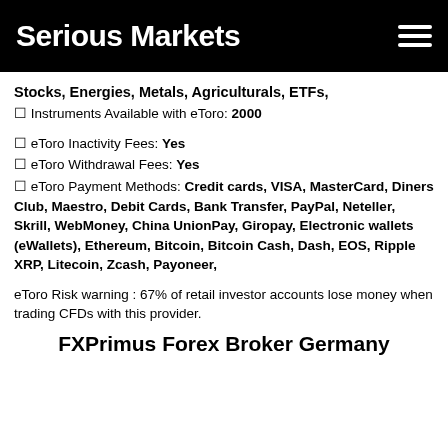Serious Markets
Stocks, Energies, Metals, Agriculturals, ETFs,
✔ Instruments Available with eToro: 2000
✔ eToro Inactivity Fees: Yes
✔ eToro Withdrawal Fees: Yes
✔ eToro Payment Methods: Credit cards, VISA, MasterCard, Diners Club, Maestro, Debit Cards, Bank Transfer, PayPal, Neteller, Skrill, WebMoney, China UnionPay, Giropay, Electronic wallets (eWallets), Ethereum, Bitcoin, Bitcoin Cash, Dash, EOS, Ripple XRP, Litecoin, Zcash, Payoneer,
eToro Risk warning : 67% of retail investor accounts lose money when trading CFDs with this provider.
FXPrimus Forex Broker Germany